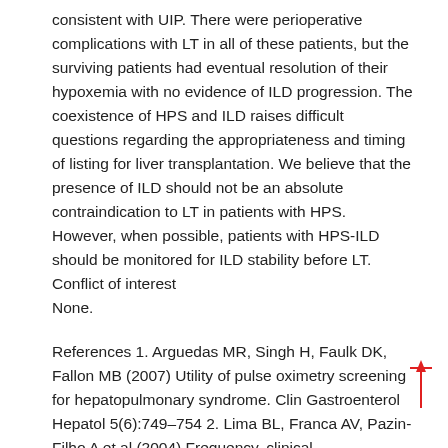consistent with UIP. There were perioperative complications with LT in all of these patients, but the surviving patients had eventual resolution of their hypoxemia with no evidence of ILD progression. The coexistence of HPS and ILD raises difficult questions regarding the appropriateness and timing of listing for liver transplantation. We believe that the presence of ILD should not be an absolute contraindication to LT in patients with HPS. However, when possible, patients with HPS-ILD should be monitored for ILD stability before LT. Conflict of interest
None.
References 1. Arguedas MR, Singh H, Faulk DK, Fallon MB (2007) Utility of pulse oximetry screening for hepatopulmonary syndrome. Clin Gastroenterol Hepatol 5(6):749–754 2. Lima BL, Franca AV, Pazin-Filho A et al (2004) Frequency, clinical characteristics, and respiratory parameters of hepatopulmonary syndrome. Mayo Clin Proc 79(1):42–48 3. Schenk P, Schoniger-Hekele M, Fuhrmann V, Madl C, Silberhumer G, Muller C (2003) Prognostic